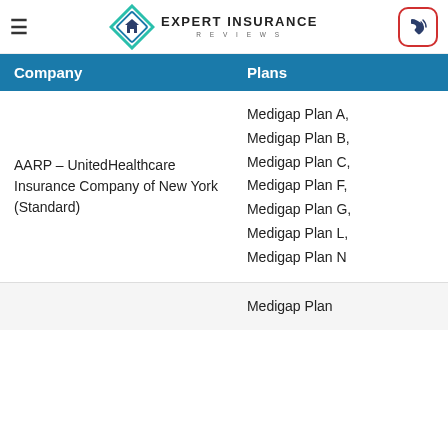Expert Insurance Reviews
| Company | Plans |
| --- | --- |
| AARP – UnitedHealthcare Insurance Company of New York (Standard) | Medigap Plan A, Medigap Plan B, Medigap Plan C, Medigap Plan F, Medigap Plan G, Medigap Plan L, Medigap Plan N |
|  | Medigap Plan |